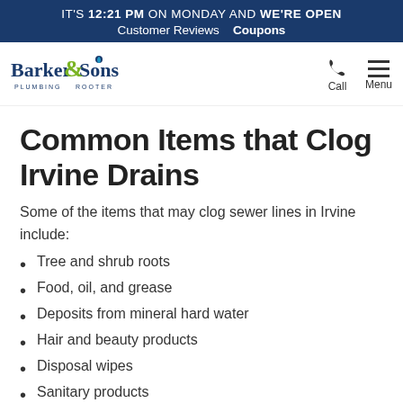IT'S 12:21 PM ON MONDAY AND WE'RE OPEN  Customer Reviews  Coupons
[Figure (logo): Barker & Sons Plumbing & Rooter logo with green ampersand and blue water drop icon]
Common Items that Clog Irvine Drains
Some of the items that may clog sewer lines in Irvine include:
Tree and shrub roots
Food, oil, and grease
Deposits from mineral hard water
Hair and beauty products
Disposal wipes
Sanitary products